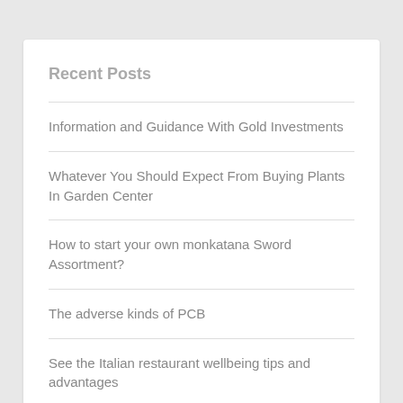Recent Posts
Information and Guidance With Gold Investments
Whatever You Should Expect From Buying Plants In Garden Center
How to start your own monkatana Sword Assortment?
The adverse kinds of PCB
See the Italian restaurant wellbeing tips and advantages